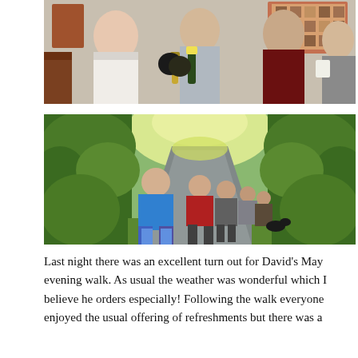[Figure (photo): Three people indoors clinking bottles and glasses together in celebration, with colorful pictures on the wall behind them.]
[Figure (photo): A group of people walking along a narrow hedgerow-lined country lane in evening light, with a man in a blue jacket in the foreground.]
Last night there was an excellent turn out for David's May evening walk. As usual the weather was wonderful which I believe he orders especially! Following the walk everyone enjoyed the usual offering of refreshments but there was a